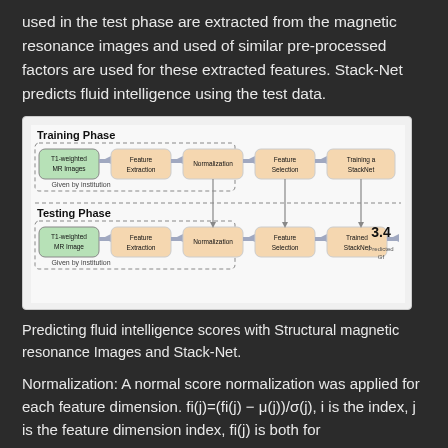used in the test phase are extracted from the magnetic resonance images and used of similar pre-processed factors are used for these extracted features. Stack-Net predicts fluid intelligence using the test data.
[Figure (flowchart): Flowchart showing Training Phase and Testing Phase pipelines. Training Phase: T1-weighted MR Images → Feature Extraction → Normalization → Feature Selection → Training a StackNet (with 'Given by institution' label). Testing Phase: T1-weighted MR Image → Feature Extraction → Normalization → Feature Selection → Trained StackNet → 3.4 Predicted Gf (with 'Given by institution' label). Arrows connect Training Phase steps down to Testing Phase Normalization, Feature Selection, and Trained StackNet.]
Predicting fluid intelligence scores with Structural magnetic resonance Images and Stack-Net.
Normalization: A normal score normalization was applied for each feature dimension. fi(j)=(fi(j) − μ(j))/σ(j), i is the index, j is the feature dimension index, fi(j) is both for